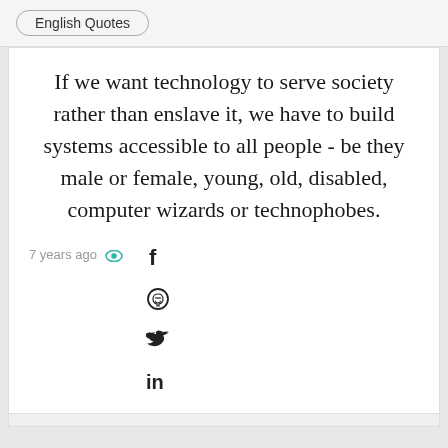English Quotes
If we want technology to serve society rather than enslave it, we have to build systems accessible to all people - be they male or female, young, old, disabled, computer wizards or technophobes.
7 years ago